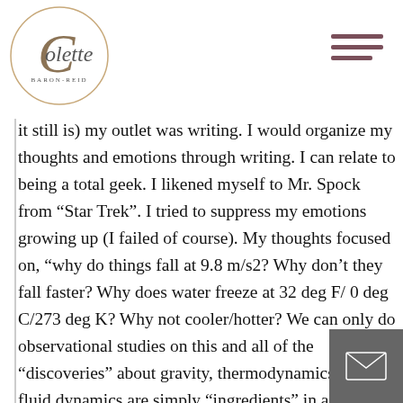Colette Baron-Reid
it still is) my outlet was writing. I would organize my thoughts and emotions through writing. I can relate to being a total geek. I likened myself to Mr. Spock from “Star Trek”. I tried to suppress my emotions growing up (I failed of course). My thoughts focused on, “why do things fall at 9.8 m/s2? Why don’t they fall faster? Why does water freeze at 32 deg F/ 0 deg C/273 deg K? Why not cooler/hotter? We can only do observational studies on this and all of the “discoveries” about gravity, thermodynamics, and fluid dynamics are simply “ingredients” in a larger universal “recipe” and “something else” is doing the cooking; to me that was not a hard concept.
When I was listening to the music and made the